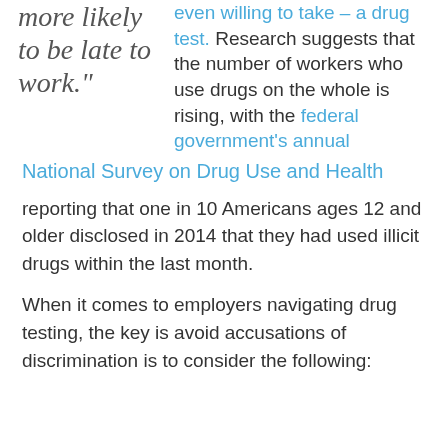more likely to be late to work."
even willing to take – a drug test. Research suggests that the number of workers who use drugs on the whole is rising, with the federal government's annual National Survey on Drug Use and Health reporting that one in 10 Americans ages 12 and older disclosed in 2014 that they had used illicit drugs within the last month.
When it comes to employers navigating drug testing, the key is avoid accusations of discrimination is to consider the following: